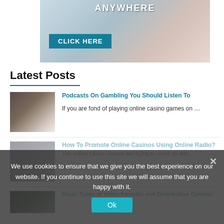[Figure (photo): Banner advertisement with 'ANYWHERE' text and 'CLICK HERE' button, showing a person using earphones with a smartphone]
Latest Posts
[Figure (photo): Thumbnail of a person with headphones at a microphone (podcast)]
Podcasts On Gambling You Should Listen To
If you are fond of playing online casino games on …
[Figure (photo): Thumbnail partially visible, blurred by cookie overlay]
How To Promote Online Casinos Using Online Radio?
The online casino owners are trying to come up with …
Major Types of Video Formats and Distribution Options
We use cookies to ensure that we give you the best experience on our website. If you continue to use this site we will assume that you are happy with it.